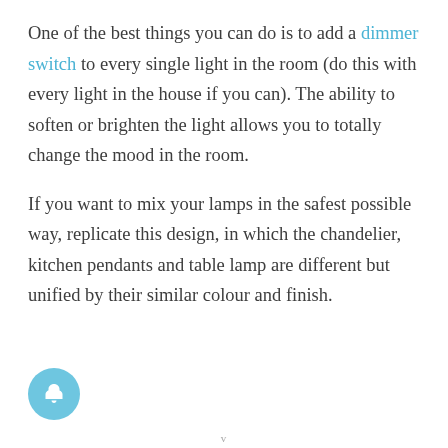One of the best things you can do is to add a dimmer switch to every single light in the room (do this with every light in the house if you can). The ability to soften or brighten the light allows you to totally change the mood in the room.
If you want to mix your lamps in the safest possible way, replicate this design, in which the chandelier, kitchen pendants and table lamp are different but unified by their similar colour and finish.
[Figure (other): Circular notification/bell icon button in light blue]